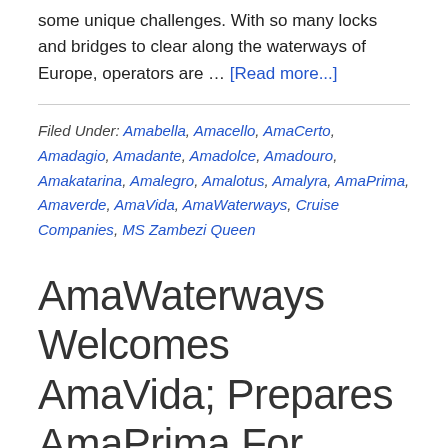some unique challenges. With so many locks and bridges to clear along the waterways of Europe, operators are … [Read more...]
Filed Under: Amabella, Amacello, AmaCerto, Amadagio, Amadante, Amadolce, Amadouro, Amakatarina, Amalegro, Amalotus, Amalyra, AmaPrima, Amaverde, AmaVida, AmaWaterways, Cruise Companies, MS Zambezi Queen
AmaWaterways Welcomes AmaVida; Prepares AmaPrima For Europe River